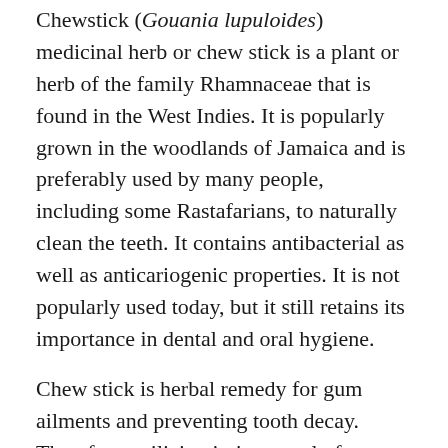Chewstick (Gouania lupuloides) medicinal herb or chew stick is a plant or herb of the family Rhamnaceae that is found in the West Indies. It is popularly grown in the woodlands of Jamaica and is preferably used by many people, including some Rastafarians, to naturally clean the teeth. It contains antibacterial as well as anticariogenic properties. It is not popularly used today, but it still retains its importance in dental and oral hygiene.
Chew stick is herbal remedy for gum ailments and preventing tooth decay.  Therefore, utilizing it, is not only for whitening of the teeth but it may be used for health benefits as well.  It can also help to keep away tartar and plaque build-up. This is due to the fact that the foam from this herb will circulate even between closely pit teeth and will work as a dental floss.